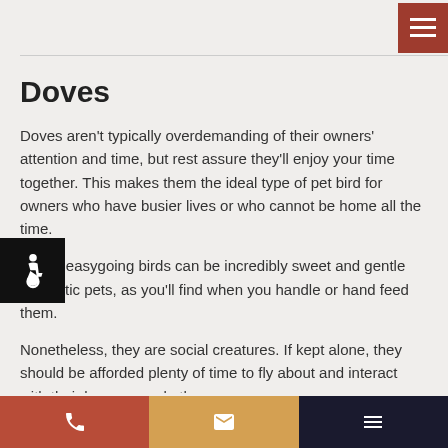Doves
Doves aren't typically overdemanding of their owners' attention and time, but rest assure they'll enjoy your time together. This makes them the ideal type of pet bird for owners who have busier lives or who cannot be home all the time.
These easygoing birds can be incredibly sweet and gentle domestic pets, as you'll find when you handle or hand feed them.
Nonetheless, they are social creatures. If kept alone, they should be afforded plenty of time to fly about and interact with their humans and others.